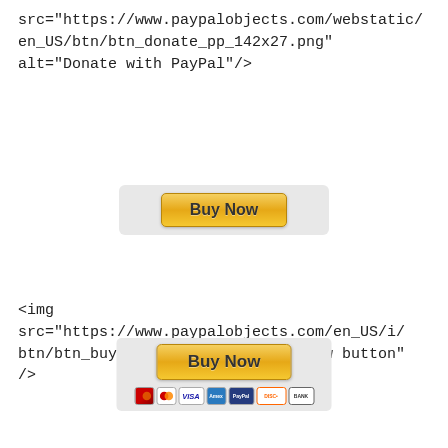src="https://www.paypalobjects.com/webstatic/en_US/btn/btn_donate_pp_142x27.png" alt="Donate with PayPal"/>
[Figure (illustration): PayPal Buy Now button (small, first variant) rendered inside a light grey rounded rectangle container]
<img
src="https://www.paypalobjects.com/en_US/i/btn/btn_buynow_LG.gif" alt="Buy Now button"
/>
[Figure (illustration): PayPal Buy Now button (large variant) with credit card icons (Mastercard, Visa, Amex, PayPal, Discover, Bank) rendered inside a light grey rounded rectangle container]